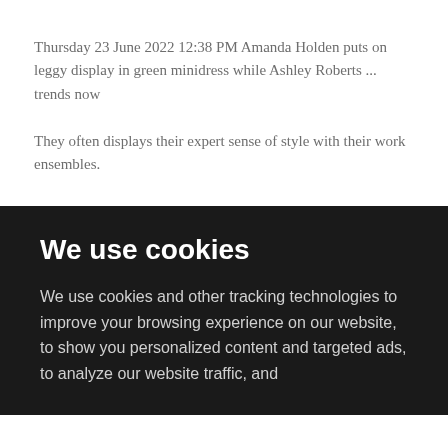Thursday 23 June 2022 12:38 PM Amanda Holden puts on leggy display in green minidress while Ashley Roberts ... trends now
They often displays their expert sense of style with their work ensembles.
We use cookies
We use cookies and other tracking technologies to improve your browsing experience on our website, to show you personalized content and targeted ads, to analyze our website traffic, and